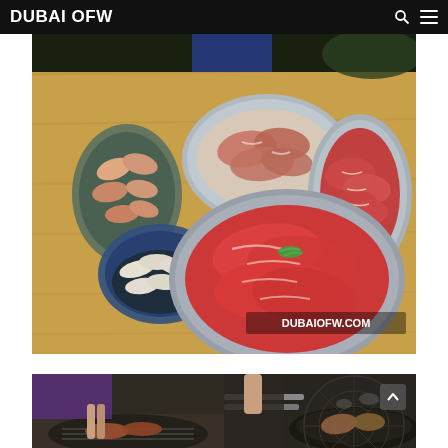DUBAI OFW
[Figure (photo): Overhead view of raw meat and seafood dishes on a wooden table — shrimp in a ceramic bowl, sliced raw beef in two silver trays, squid/white seafood in a blue ceramic bowl, and a large silver tray of marbled red beef garnished with green onion. Watermark reads DUBAIOFW.COM in bottom right.]
[Figure (photo): Left half of bottom diptych: person grilling meat on a tabletop grill, hand visible with tongs.]
[Figure (photo): Right half of bottom diptych: close-up of tongs holding meat over a circular charcoal grill with smoke.]